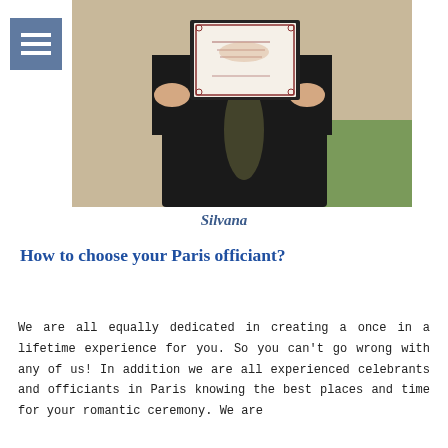[Figure (photo): Person dressed in black holding a framed certificate with decorative border, outdoor background with grass]
Silvana
How to choose your Paris officiant?
We are all equally dedicated in creating a once in a lifetime experience for you. So you can’t go wrong with any of us! In addition we are all experienced celebrants and officiants in Paris knowing the best places and time for your romantic ceremony. We are